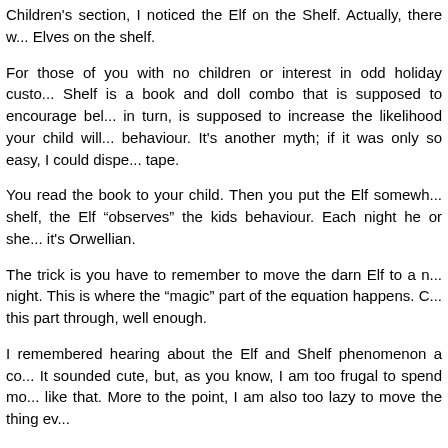Children's section, I noticed the Elf on the Shelf. Actually, there w... Elves on the shelf.
For those of you with no children or interest in odd holiday custo... Shelf is a book and doll combo that is supposed to encourage bel... in turn, is supposed to increase the likelihood your child will... behaviour. It's another myth; if it was only so easy, I could dispe... tape.
You read the book to your child. Then you put the Elf somewh... shelf, the Elf "observes" the kids behaviour. Each night he or she... it's Orwellian.
The trick is you have to remember to move the darn Elf to a n... night. This is where the "magic" part of the equation happens. C... this part through, well enough.
I remembered hearing about the Elf and Shelf phenomenon a co... It sounded cute, but, as you know, I am too frugal to spend mo... like that. More to the point, I am also too lazy to move the thing ev...
Besides, knowing my kids our Elf would end up resigning his po... and end up shooting up the place with a bunch of robots with b... had the Elf. I really didn't give it more than a passing thought, unt... when I noticed several people mentioning it on various social me...
Keep in mind the Elf is just a fun little thing to do with your kid, j...